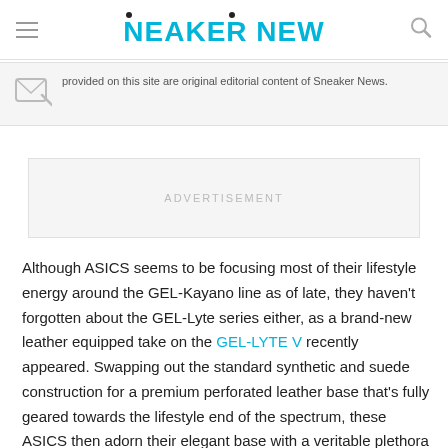SNEAKER NEWS
provided on this site are original editorial content of Sneaker News.
ADVERTISEMENT
Although ASICS seems to be focusing most of their lifestyle energy around the GEL-Kayano line as of late, they haven't forgotten about the GEL-Lyte series either, as a brand-new leather equipped take on the GEL-LYTE V recently appeared. Swapping out the standard synthetic and suede construction for a premium perforated leather base that's fully geared towards the lifestyle end of the spectrum, these ASICS then adorn their elegant base with a veritable plethora of bold colors. Yellow, red, orange, teal, and purple all throw their hats in the ring, while black trim and accents on the midfoot and outsole